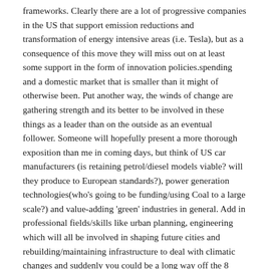frameworks. Clearly there are a lot of progressive companies in the US that support emission reductions and transformation of energy intensive areas (i.e. Tesla), but as a consequence of this move they will miss out on at least some support in the form of innovation policies.spending and a domestic market that is smaller than it might of otherwise been. Put another way, the winds of change are gathering strength and its better to be involved in these things as a leader than on the outside as an eventual follower. Someone will hopefully present a more thorough exposition than me in coming days, but think of US car manufacturers (is retaining petrol/diesel models viable? will they produce to European standards?), power generation technologies(who's going to be funding/using Coal to a large scale?) and value-adding 'green' industries in general. Add in professional fields/skills like urban planning, engineering which will all be involved in shaping future cities and rebuilding/maintaining infrastructure to deal with climatic changes and suddenly you could be a long way off the 8 ball.